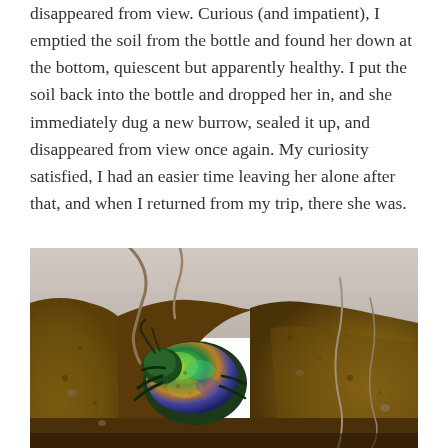disappeared from view. Curious (and impatient), I emptied the soil from the bottle and found her down at the bottom, quiescent but apparently healthy. I put the soil back into the bottle and dropped her in, and she immediately dug a new burrow, sealed it up, and disappeared from view once again. My curiosity satisfied, I had an easier time leaving her alone after that, and when I returned from my trip, there she was.
[Figure (photo): Close-up photo of a metallic green iridescent beetle (appears to be a dung beetle or similar scarab) nestled in a burrow within brown soil. Roots and worm trails are visible in the surrounding soil. The beetle shows vivid green, gold, and rainbow metallic coloration.]